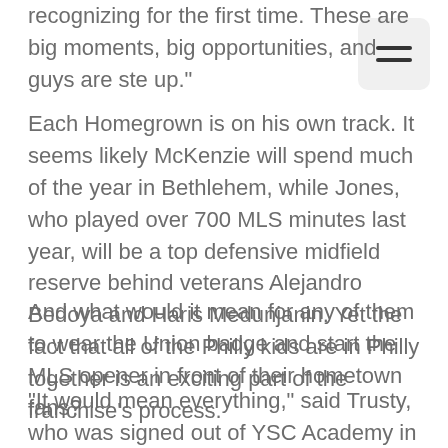recognizing for the first time. These are big moments, big opportunities, and guys are ste… up."
Each Homegrown is on his own track. It seems likely McKenzie will spend much of the year in Bethlehem, while Jones, who played over 700 MLS minutes last year, will be a top defensive midfield reserve behind veterans Alejandro Bedoya and Haris Medunjanin. Yet the fact that all of the Philly kids are in Philly together is an exciting part of the franchise's process.
And what would it mean for any of them to wear the Union badge and start the MLS opener in front of their hometown fans?
“It would mean everything,” said Trusty, who was signed out of YSC Academy in August of 2016 but